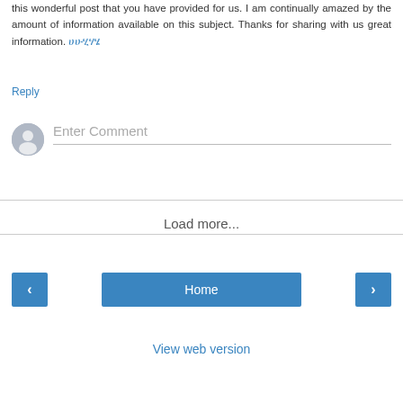this wonderful post that you have provided for us. I am continually amazed by the amount of information available on this subject. Thanks for sharing with us great information. ሀሁሂሃሄ
Reply
[Figure (other): User avatar icon (grey circle with silhouette person icon) next to a comment input field with placeholder text 'Enter Comment' and a bottom border line]
Load more...
[Figure (other): Navigation buttons: left arrow button, Home button, right arrow button — all in blue]
View web version